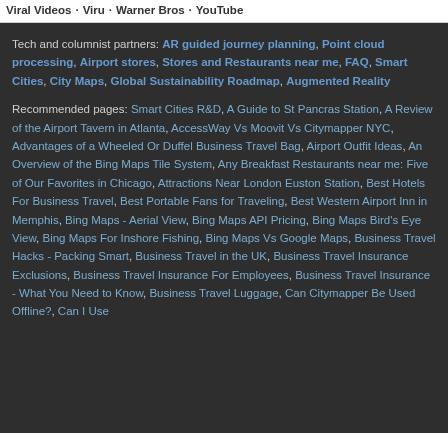Viral Videos · Viru · Warner Bros · YouTube
Tech and columnist partners: AR guided journey planning, Point cloud processing, Airport stores, Stores and Restaurants near me, FAQ, Smart Cities, City Maps, Global Sustainability Roadmap, Augmented Reality
Recommended pages: Smart Cities R&D, A Guide to St Pancras Station, A Review of the Airport Tavern in Atlanta, AccessWay Vs Moovit Vs Citymapper NYC, Advantages of a Wheeled Or Duffel Business Travel Bag, Airport Outfit Ideas, An Overview of the Bing Maps Tile System, Any Breakfast Restaurants near me: Five of Our Favorites in Chicago, Attractions Near London Euston Station, Best Hotels For Business Travel, Best Portable Fans for Traveling, Best Western Airport Inn in Memphis, Bing Maps - Aerial View, Bing Maps API Pricing, Bing Maps Bird's Eye View, Bing Maps For Inshore Fishing, Bing Maps Vs Google Maps, Business Travel Hacks - Packing Smart, Business Travel in the UK, Business Travel Insurance Exclusions, Business Travel Insurance For Employees, Business Travel Insurance - What You Need to Know, Business Travel Luggage, Can Citymapper Be Used Offline?, Can I Use